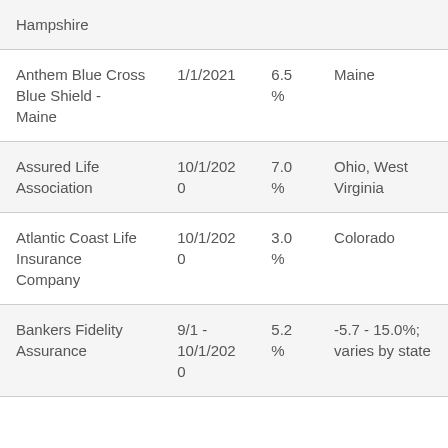| Hampshire |  |  |  |
| Anthem Blue Cross Blue Shield - Maine | 1/1/2021 | 6.5% | Maine |
| Assured Life Association | 10/1/2020 | 7.0% | Ohio, West Virginia |
| Atlantic Coast Life Insurance Company | 10/1/2020 | 3.0% | Colorado |
| Bankers Fidelity Assurance | 9/1 - 10/1/2020 | 5.2% | -5.7 - 15.0%; varies by state |